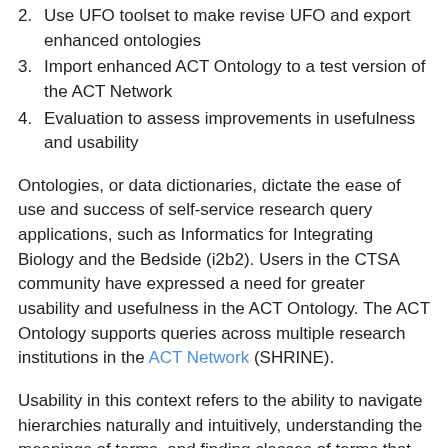2. Use UFO toolset to make revise UFO and export enhanced ontologies
3. Import enhanced ACT Ontology to a test version of the ACT Network
4. Evaluation to assess improvements in usefulness and usability
Ontologies, or data dictionaries, dictate the ease of use and success of self-service research query applications, such as Informatics for Integrating Biology and the Bedside (i2b2). Users in the CTSA community have expressed a need for greater usability and usefulness in the ACT Ontology. The ACT Ontology supports queries across multiple research institutions in the ACT Network (SHRINE).
Usability in this context refers to the ability to navigate hierarchies naturally and intuitively, understanding the meanings of terms, and finding classes of terms that are relevant to research retrievals. Usable ontologies include classes that are findable and reduce the need for users to assemble long lists of relevant terms to cover the topic of